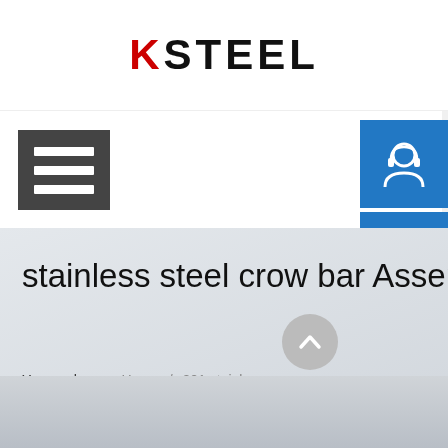[Figure (logo): KSTEEL logo with red K and black STEEL text]
[Figure (illustration): Hamburger menu icon (three white horizontal lines on dark grey background)]
[Figure (illustration): Blue sidebar button 1: customer service / headset icon]
[Figure (illustration): Blue sidebar button 2: phone with signal waves icon]
[Figure (illustration): Blue sidebar button 3: Skype icon (S)]
stainless steel crow bar Assembling
You are here:  Home / 201 stainless
[Figure (illustration): Grey circular scroll-up arrow button]
[Figure (photo): Partially visible product photo at bottom of page]